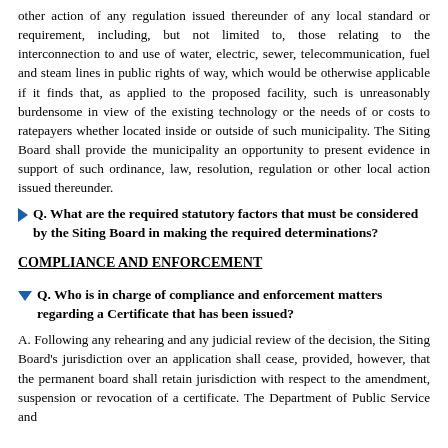other action of any regulation issued thereunder of any local standard or requirement, including, but not limited to, those relating to the interconnection to and use of water, electric, sewer, telecommunication, fuel and steam lines in public rights of way, which would be otherwise applicable if it finds that, as applied to the proposed facility, such is unreasonably burdensome in view of the existing technology or the needs of or costs to ratepayers whether located inside or outside of such municipality. The Siting Board shall provide the municipality an opportunity to present evidence in support of such ordinance, law, resolution, regulation or other local action issued thereunder.
Q. What are the required statutory factors that must be considered by the Siting Board in making the required determinations?
COMPLIANCE AND ENFORCEMENT
Q. Who is in charge of compliance and enforcement matters regarding a Certificate that has been issued?
A. Following any rehearing and any judicial review of the decision, the Siting Board's jurisdiction over an application shall cease, provided, however, that the permanent board shall retain jurisdiction with respect to the amendment, suspension or revocation of a certificate. The Department of Public Service and...